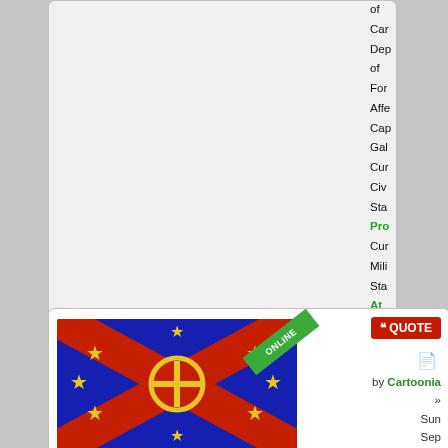[Figure (screenshot): Forum post page screenshot. Top half shows a gray rounded panel (partially visible). Right side shows a vertical list of truncated link/label texts: 'of', 'Car', 'Dep', 'of', 'For', 'Affe', 'Cap', 'Gal', 'Cur', 'Civ', 'Sta', 'Pro' (green bold), 'Cur', 'Mili', 'Sta', 'At' (green bold), 'Pea' (green bold), followed by a 'Ca' button and a scroll-up circle button. Bottom half shows a forum post panel with a flag avatar (blue with red X and gold stars and cross), username 'Cartoonia' in green, title 'Ambassador', post stats (Posts: 1420, Founded: Jul 22, 2017), and a QUOTE button with ONLINE ribbon. Post metadata shows 'by Cartoonia » Sun Sep 23, 2018 10:02 am'.]
of Car Dep of For Affe Cap Gal Cur Civ Sta Pro Cur Mili Sta At Pea Ca
Cartoonia
Ambassador
Posts: 1420
Founded: Jul 22, 2017
by Cartoonia » Sun Sep 23, 2018 10:02 am